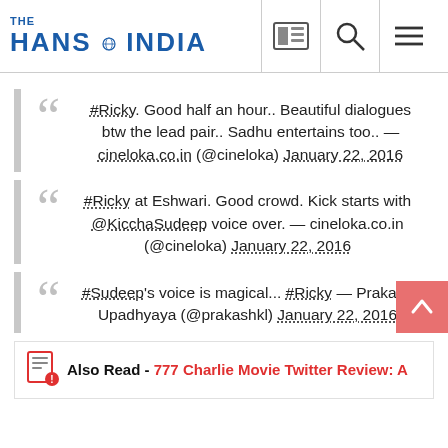THE HANS INDIA
#Ricky. Good half an hour.. Beautiful dialogues btw the lead pair.. Sadhu entertains too.. — cineloka.co.in (@cineloka) January 22, 2016
#Ricky at Eshwari. Good crowd. Kick starts with @KicchaSudeep voice over. — cineloka.co.in (@cineloka) January 22, 2016
#Sudeep's voice is magical... #Ricky — Prakash Upadhyaya (@prakashkl) January 22, 2016
Also Read - 777 Charlie Movie Twitter Review: A